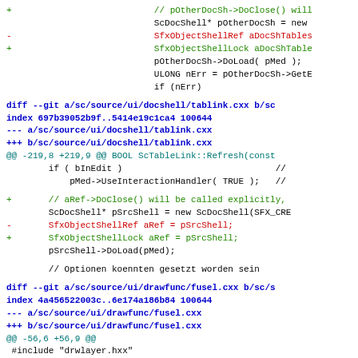[Figure (screenshot): A code diff screenshot showing git diff output for tablink.cxx and fusel.cxx files with added and removed lines highlighted in green and red]
diff --git a/sc/source/ui/docshell/tablink.cxx b/sc/...
diff --git a/sc/source/ui/drawfunc/fusel.cxx b/sc/s...